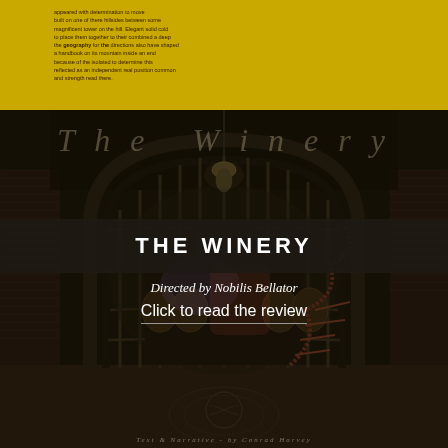Lorem ipsum style small text block visible on yellow background at top of page
[Figure (photo): Dark atmospheric photo of The Winery interior showing an ornate arched iron gate/door structure with spiral staircase visible beyond, brick walls, dim amber lighting. 'The Winery' watermark text overlaid in semi-transparent italic serif font at top.]
THE WINERY
Directed by Nobilis Bellator
Click to read the review
Text & Narrative - by Conrad Harvey